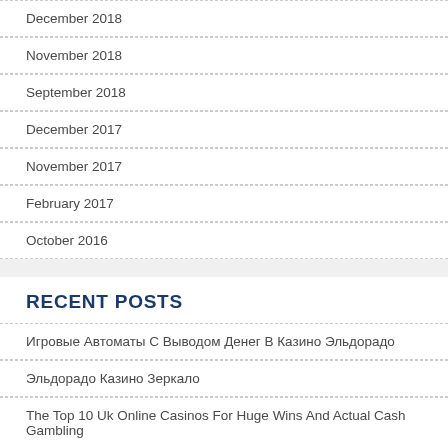December 2018
November 2018
September 2018
December 2017
November 2017
February 2017
October 2016
RECENT POSTS
Игровые Автоматы С Выводом Денег В Казино Эльдорадо
Эльдорадо Казино Зеркало
The Top 10 Uk Online Casinos For Huge Wins And Actual Cash Gambling
Greatest Antivirus Reddit Software